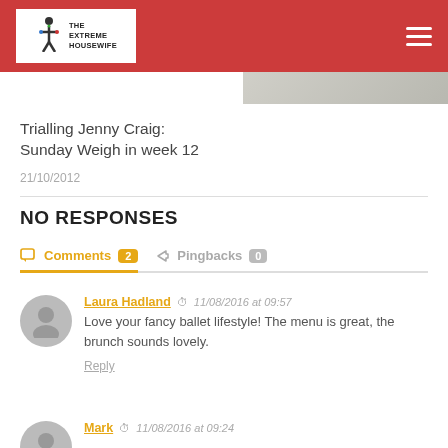The Extreme Housewife
[Figure (photo): Partial image of food/plate visible at top right]
Trialling Jenny Craig: Sunday Weigh in week 12
21/10/2012
NO RESPONSES
Comments 2   Pingbacks 0
Laura Hadland  11/08/2016 at 09:57
Love your fancy ballet lifestyle! The menu is great, the brunch sounds lovely.
Reply
Mark  11/08/2016 at 09:24